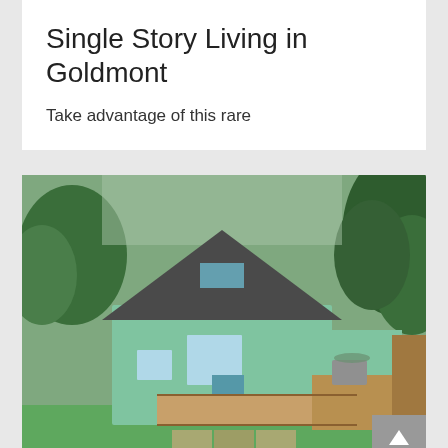Single Story Living in Goldmont
Take advantage of this rare
[Figure (photo): Aerial view of a craftsman-style house with green/teal siding, dark shingle roof, large wooden deck with outdoor furniture, surrounded by green lawn and trees.]
One of a Kind Craftsman
Sitting on a large...